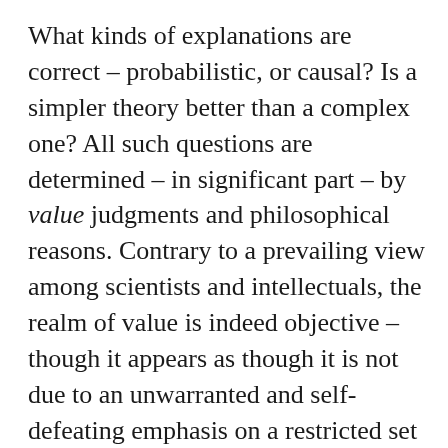What kinds of explanations are correct – probabilistic, or causal? Is a simpler theory better than a complex one? All such questions are determined – in significant part – by value judgments and philosophical reasons. Contrary to a prevailing view among scientists and intellectuals, the realm of value is indeed objective – though it appears as though it is not due to an unwarranted and self-defeating emphasis on a restricted set of standards of evidence and reasoning.

In the fourth, I'll look at the difference